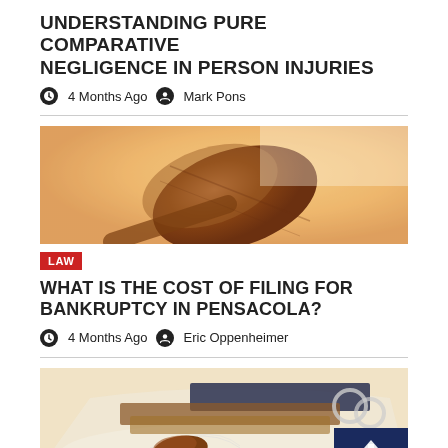UNDERSTANDING PURE COMPARATIVE NEGLIGENCE IN PERSON INJURIES
4 Months Ago   Mark Pons
[Figure (photo): Close-up of a wooden judge's gavel resting on a surface with blurred warm-toned background (law library)]
LAW
WHAT IS THE COST OF FILING FOR BANKRUPTCY IN PENSACOLA?
4 Months Ago   Eric Oppenheimer
[Figure (photo): Stack of law books, an open book, a gavel, and handcuffs on a surface]